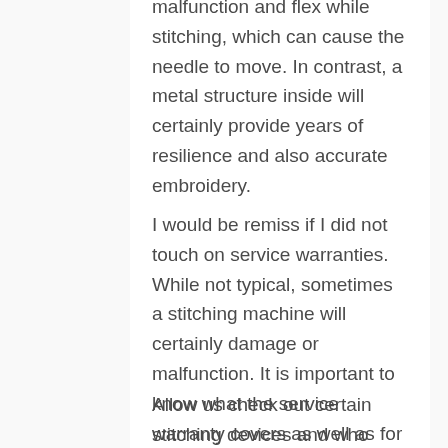malfunction and flex while stitching, which can cause the needle to move. In contrast, a metal structure inside will certainly provide years of resilience and also accurate embroidery.
I would be remiss if I did not touch on service warranties. While not typical, sometimes a stitching machine will certainly damage or malfunction. It is important to know what the service warranty covers as well as for how long. It is best to be prepared should a circumstance emerge that needs interest beyond simple maintenance.
Allow us check out certain stitching devices and who they are tailored for.